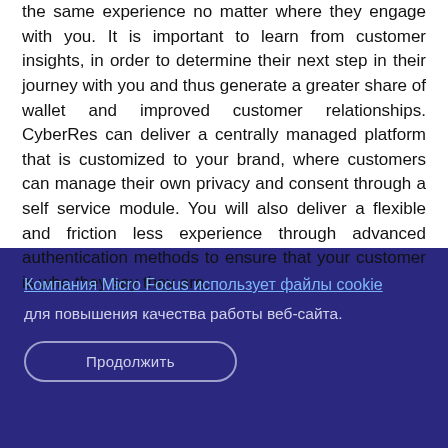the same experience no matter where they engage with you. It is important to learn from customer insights, in order to determine their next step in their journey with you and thus generate a greater share of wallet and improved customer relationships. CyberRes can deliver a centrally managed platform that is customized to your brand, where customers can manage their own privacy and consent through a self service module. You will also deliver a flexible and friction less experience through advanced authentication methods to ensure that your customer is who they say they are.
Компания Micro Focus использует файлы cookie для повышения качества работы веб-сайта.
Продолжить